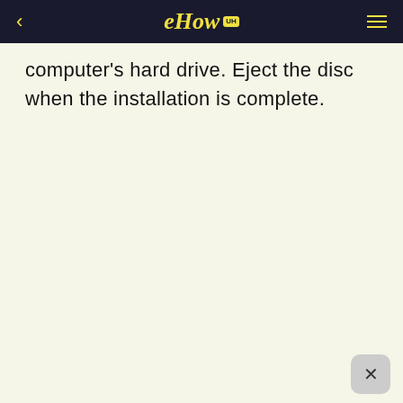eHow
computer's hard drive. Eject the disc when the installation is complete.